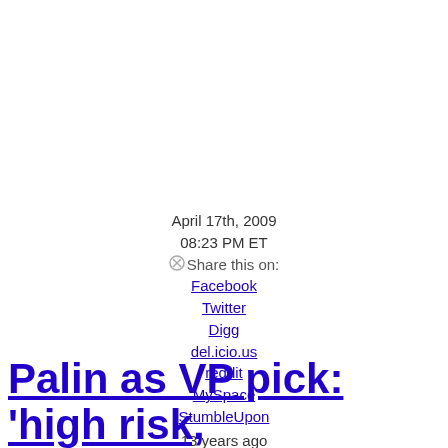April 17th, 2009
08:23 PM ET
⊗Share this on:
Facebook
Twitter
Digg
del.icio.us
reddit
MySpace
StumbleUpon
13 years ago
Palin as VP pick: 'high risk,